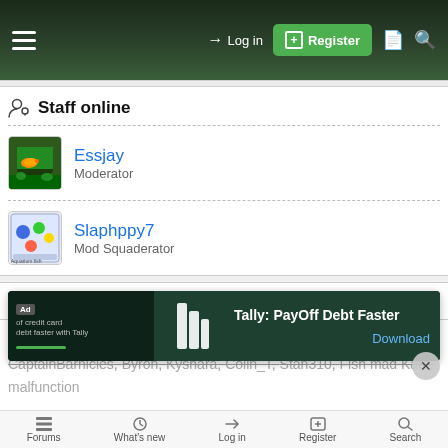Log in | Register
Staff online
Essjay — Moderator
Slaphppy7 — Mod Squaderator
Members online
Essjay, Back in the fold, connorlindeman, Oli, AdoraBelle Dearheart, CaptainBarnicles, Byron, Kyshara, Colin_T, Stan310, Fish mad Kate, malfunction...
[Figure (screenshot): Ad banner: Tally: PayOff Debt Faster with Download button]
Forums | What's new | Log in | Register | Search